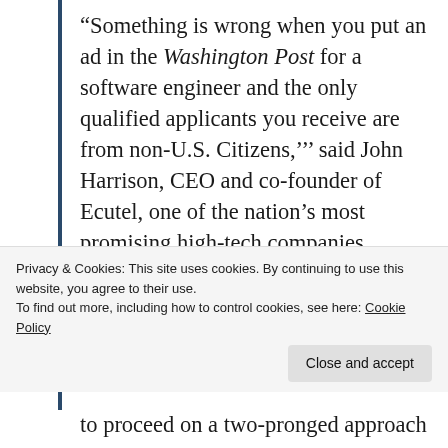“Something is wrong when you put an ad in the Washington Post for a software engineer and the only qualified applicants you receive are from non-U.S. Citizens,’’’ said John Harrison, CEO and co-founder of Ecutel, one of the nation’s most promising high-tech companies.
In testimony before the House Science Committee today, Harrison told of the
to proceed on a two-pronged approach
Privacy & Cookies: This site uses cookies. By continuing to use this website, you agree to their use.
To find out more, including how to control cookies, see here: Cookie Policy